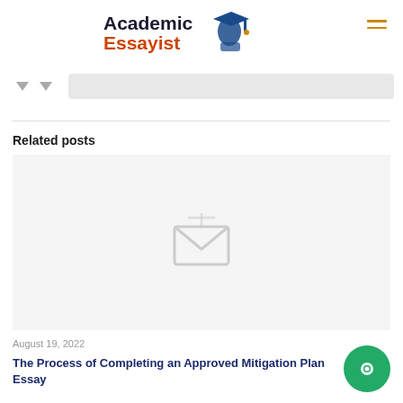Academic Essayist
Related posts
[Figure (illustration): Placeholder image icon — a grey envelope/image placeholder icon centered on a light grey background]
August 19, 2022
The Process of Completing an Approved Mitigation Plan Essay